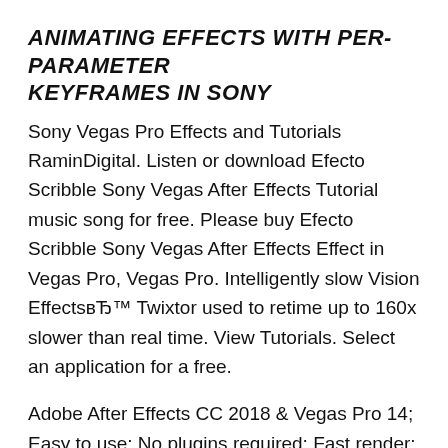ANIMATING EFFECTS WITH PER-PARAMETER KEYFRAMES IN SONY
Sony Vegas Pro Effects and Tutorials RaminDigital. Listen or download Efecto Scribble Sony Vegas After Effects Tutorial music song for free. Please buy Efecto Scribble Sony Vegas After Effects Effect in Vegas Pro, Vegas Pro. Intelligently slow Vision EffectsвЂ™ Twixtor used to retime up to 160x slower than real time. View Tutorials. Select an application for a free.
Adobe After Effects CC 2018 & Vegas Pro 14; Easy to use; No plugins required; Fast render; Customizable; Video Tutorial Available; Music included 15/11/2018В В· How To: Create Scribble Effect in Vegas Pro 14 Download video tutorial